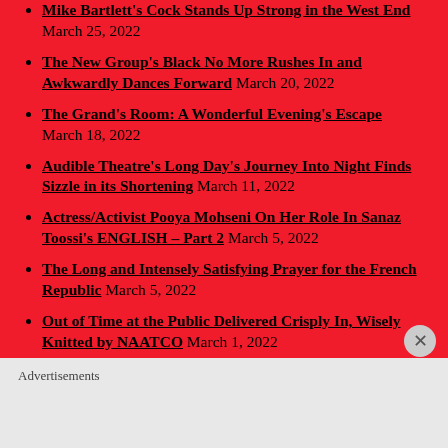Mike Bartlett's Cock Stands Up Strong in the West End March 25, 2022
The New Group's Black No More Rushes In and Awkwardly Dances Forward March 20, 2022
The Grand's Room: A Wonderful Evening's Escape March 18, 2022
Audible Theatre's Long Day's Journey Into Night Finds Sizzle in its Shortening March 11, 2022
Actress/Activist Pooya Mohseni On Her Role In Sanaz Toossi's ENGLISH – Part 2 March 5, 2022
The Long and Intensely Satisfying Prayer for the French Republic March 5, 2022
Out of Time at the Public Delivered Crisply In, Wisely Knitted by NAATCO March 1, 2022
Advertisements